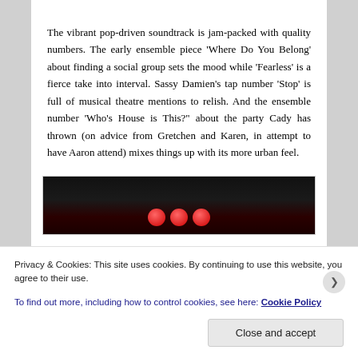The vibrant pop-driven soundtrack is jam-packed with quality numbers. The early ensemble piece 'Where Do You Belong' about finding a social group sets the mood while 'Fearless' is a fierce take into interval. Sassy Damien's tap number 'Stop' is full of musical theatre mentions to relish. And the ensemble number 'Who's House is This?' about the party Cady has thrown (on advice from Gretchen and Karen, in attempt to have Aaron attend) mixes things up with its more urban feel.
[Figure (photo): Dark stage photo showing performers, likely from a musical theatre production with red lighting elements.]
Privacy & Cookies: This site uses cookies. By continuing to use this website, you agree to their use. To find out more, including how to control cookies, see here: Cookie Policy